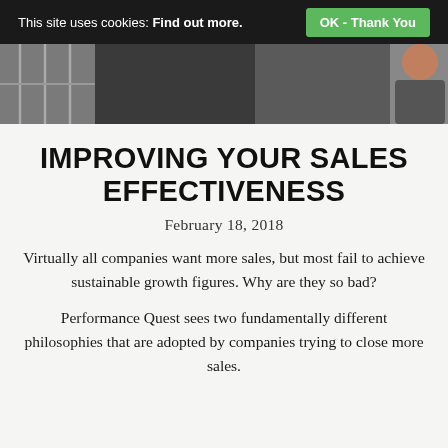This site uses cookies: Find out more. | OK - Thank You
[Figure (photo): Hero image showing a partial view of a person and architectural/window elements in a dark tone]
IMPROVING YOUR SALES EFFECTIVENESS
February 18, 2018
Virtually all companies want more sales, but most fail to achieve sustainable growth figures. Why are they so bad?
Performance Quest sees two fundamentally different philosophies that are adopted by companies trying to close more sales.